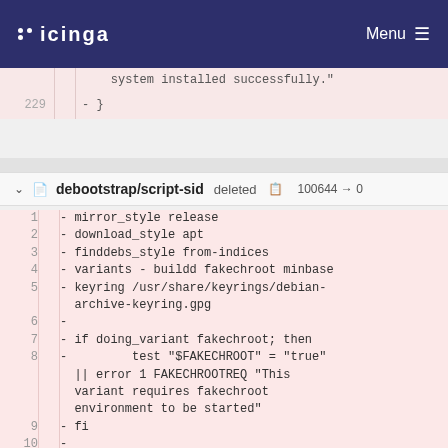icinga  Menu
system installed successfully."
229  - }
debootstrap/script-sid deleted  100644 → 0
1  - mirror_style release
2  - download_style apt
3  - finddebs_style from-indices
4  - variants - buildd fakechroot minbase
5  - keyring /usr/share/keyrings/debian-archive-keyring.gpg
6  -
7  - if doing_variant fakechroot; then
8  -         test "$FAKECHROOT" = "true" || error 1 FAKECHROOTREQ "This variant requires fakechroot environment to be started"
9  - fi
10  -
11  - case $ARCH in